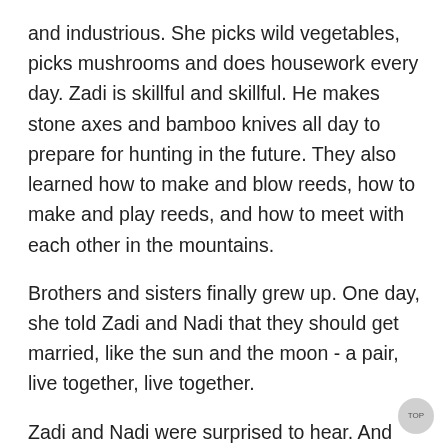and industrious. She picks wild vegetables, picks mushrooms and does housework every day. Zadi is skillful and skillful. He makes stone axes and bamboo knives all day to prepare for hunting in the future. They also learned how to make and blow reeds, how to make and play reeds, and how to meet with each other in the mountains.
Brothers and sisters finally grew up. One day, she told Zadi and Nadi that they should get married, like the sun and the moon - a pair, live together, live together.
Zadi and Nadi were surprised to hear. And they said, We are brothers and sisters, and we cannot be husband and wife. But,
Sha disagreed. One of Zadi and Nadi ran to Mount Aki and the other to Mount Ayo, far apart. They hide away, just don't